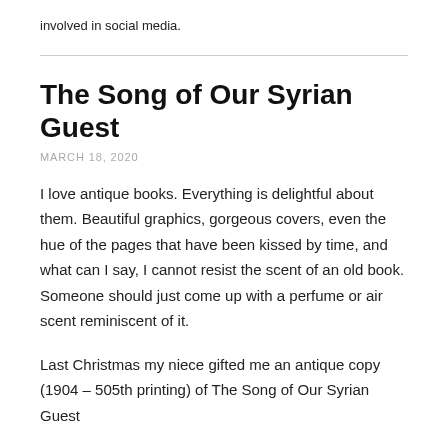involved in social media.
The Song of Our Syrian Guest
MARCH 18, 2020
I love antique books. Everything is delightful about them. Beautiful graphics, gorgeous covers, even the hue of the pages that have been kissed by time, and what can I say, I cannot resist the scent of an old book. Someone should just come up with a perfume or air scent reminiscent of it.
Last Christmas my niece gifted me an antique copy (1904 – 505th printing) of The Song of Our Syrian Guest